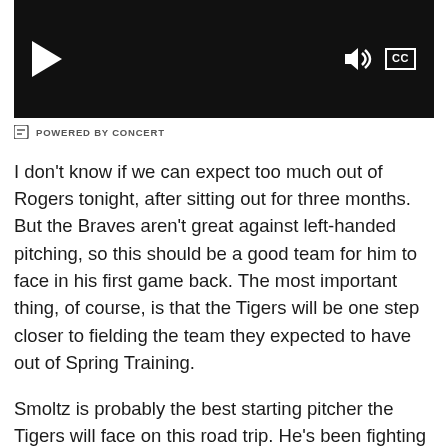[Figure (other): Video player with black background, play button on left, volume and CC controls on right]
POWERED BY CONCERT
I don't know if we can expect too much out of Rogers tonight, after sitting out for three months. But the Braves aren't great against left-handed pitching, so this should be a good team for him to face in his first game back. The most important thing, of course, is that the Tigers will be one step closer to fielding the team they expected to have out of Spring Training.
Smoltz is probably the best starting pitcher the Tigers will face on this road trip. He's been fighting a sore shoulder, but after sitting out one turn in the rotation, he came back to hold the Indians to two runs in six innings. Actually, he's only given up more than two runs